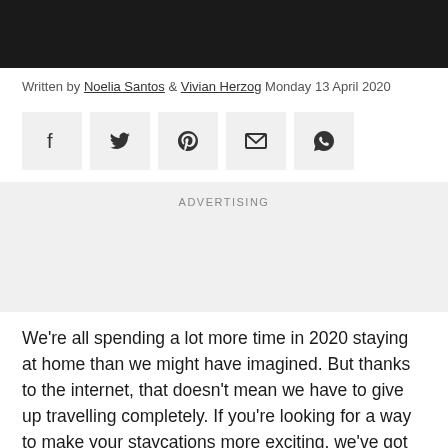[Figure (photo): Black header bar at top of page]
Written by Noelia Santos & Vivian Herzog Monday 13 April 2020
[Figure (infographic): Social sharing buttons: Facebook, Twitter, Pinterest, Email, WhatsApp]
ADVERTISING
We're all spending a lot more time in 2020 staying at home than we might have imagined. But thanks to the internet, that doesn't mean we have to give up travelling completely. If you're looking for a way to make your staycations more exciting, we've got seven virtual holidays around Spain